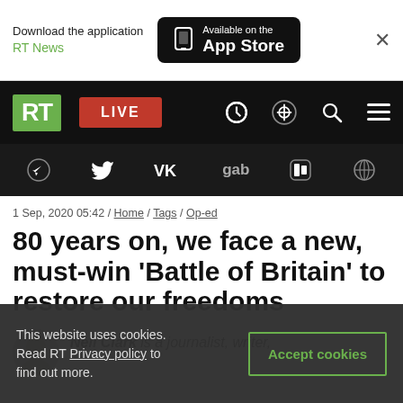[Figure (screenshot): App store download banner with 'Download the application RT News' text and 'Available on the App Store' button with phone icon, and a close X button]
[Figure (screenshot): RT navigation bar with green RT logo, red LIVE button, search icon, and hamburger menu on black background]
[Figure (screenshot): Social media icons bar (Telegram, Twitter, VK, gab, Rumble, globe) on dark background]
1 Sep, 2020 05:42 / Home / Tags / Op-ed
80 years on, we face a new, must-win ‘Battle of Britain’ to restore our freedoms
Neil Clark is a journalist, writer,
This website uses cookies. Read RT Privacy policy to find out more.
Accept cookies